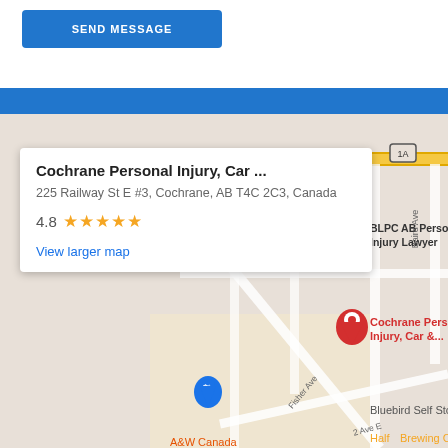[Figure (screenshot): Blue send message button at top of page]
[Figure (map): Google Maps embed showing Cochrane Personal Injury, Car & location at 225 Railway St E #3, Cochrane, AB T4C 2C3, Canada. Map shows surrounding streets including Fisher Ave, Pope Ave, Baird Ave, 2 Ave E. Other pins visible for ercho Law Offices, BLPC AB Personal Injury Lawyer. Nearby landmarks: Rocky Mountain V Bed and Break, Bluebird Self Sto, Half Brewing Com, A&W Canada. Red pin marks Cochrane Personal Injury Car & location.]
Cochrane Personal Injury, Car ...
225 Railway St E #3, Cochrane, AB T4C 2C3, Canada
4.8 ★★★★★
View larger map